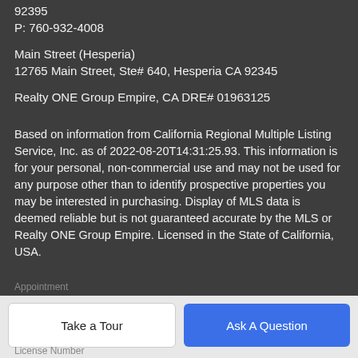92395
P: 760-932-4008
Main Street (Hesperia)
12765 Main Street, Ste# 640, Hesperia CA 92345
Realty ONE Group Empire, CA DRE# 01963125
Based on information from California Regional Multiple Listing Service, Inc. as of 2022-08-20T14:31:25.93. This information is for your personal, non-commercial use and may not be used for any purpose other than to identify prospective properties you may be interested in purchasing. Display of MLS data is deemed reliable but is not guaranteed accurate by the MLS or Realty ONE Group Empire. Licensed in the State of California, USA.